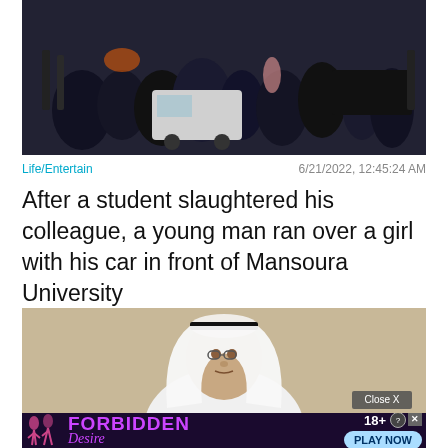[Figure (photo): Aerial/overhead night street scene showing many people gathered around a white van on a dark street, with bicycles and cars visible]
Life/Entertain   6/21/2022, 12:45:24 AM
After a student slaughtered his colleague, a young man ran over a girl with his car in front of Mansoura University
[Figure (photo): Portrait photo of a man wearing white traditional Arab dress (thobe) and a white kufi cap with a black agal, against a beige/tan background. Close X button visible in lower right.]
[Figure (screenshot): Advertisement banner: dark purple background with silhouettes of figures, text reads FORBIDDEN Desire 18+ PLAY NOW]